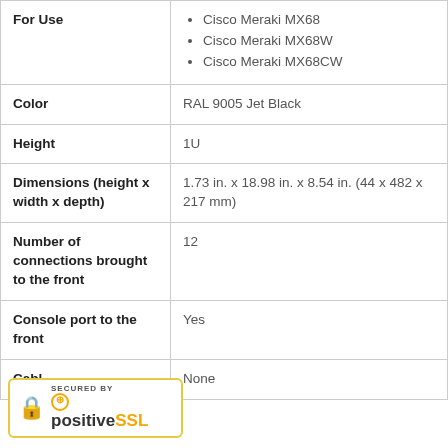| Property | Value |
| --- | --- |
| For Use | Cisco Meraki MX68
Cisco Meraki MX68W
Cisco Meraki MX68CW |
| Color | RAL 9005 Jet Black |
| Height | 1U |
| Dimensions (height x width x depth) | 1.73 in. x 18.98 in. x 8.54 in. (44 x 482 x 217 mm) |
| Number of connections brought to the front | 12 |
| Console port to the front | Yes |
| Cables | None |
[Figure (logo): Secured by PositiveSSL badge with lock icon and yellow/gold border]